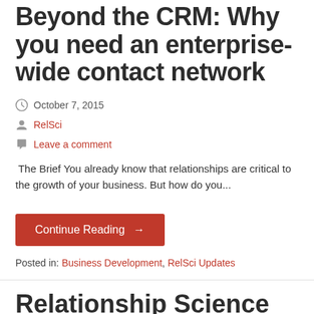Beyond the CRM: Why you need an enterprise-wide contact network
October 7, 2015
RelSci
Leave a comment
The Brief You already know that relationships are critical to the growth of your business. But how do you...
Continue Reading →
Posted in: Business Development, RelSci Updates
Relationship Science